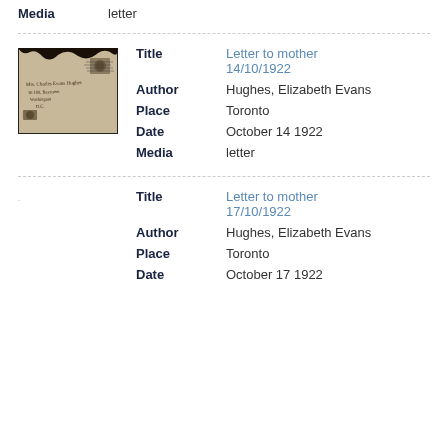Media   letter
[Figure (photo): Photograph of an old envelope addressed to Mrs. Charles Evans Hughes, with stamps and handwritten text, black and white, with dark torn edges at top.]
Title   Letter to mother 14/10/1922
Author   Hughes, Elizabeth Evans
Place   Toronto
Date   October 14 1922
Media   letter
Title   Letter to mother 17/10/1922
Author   Hughes, Elizabeth Evans
Place   Toronto
Date   October 17 1922